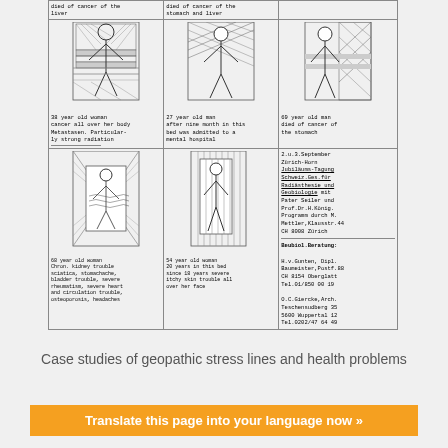[Figure (illustration): 3x3 grid table of geopathic stress case studies with body illustrations and text descriptions. Top row: died of cancer of the liver; died of cancer of the stomach and liver; [no text shown]. Middle row: 38 year old woman cancer all over her body Metastasen. Particularly strong radiation; 27 year old man after nine month in this bed was admitted to a mental hospital; 69 year old man died of cancer of the stomach. Bottom row: 68 year old woman Chron. kidney trouble sciatica, stomachache, bladder trouble, severe rheumatism, severe heart and circulation trouble, osteoporosis, headaches; 54 year old woman 20 years in this bed since 18 years severe itchy skin trouble all over her face; announcement cell about 2.u.3. September Zurich-Horn Jubilaums-Tagung Schweiz.Ges.fur Radiasethesie und Geobiologie mit Pater Seiler und Prof.Dr.H.Konig. Program durch M.Mettler,Klausstr.44 CH 8008 Zurich; Beubiol.Beratung: H.v.Gunten, Dipl. Baumeister,Postf.88 CH 8154 Oberglatt Tel.01/850 00 19; O.C.Giercke,Arch. Teschensudberg 35 5600 Wuppertal 12 Tel.0202/47 64 49]
Case studies of geopathic stress lines and health problems
Translate this page into your language now »